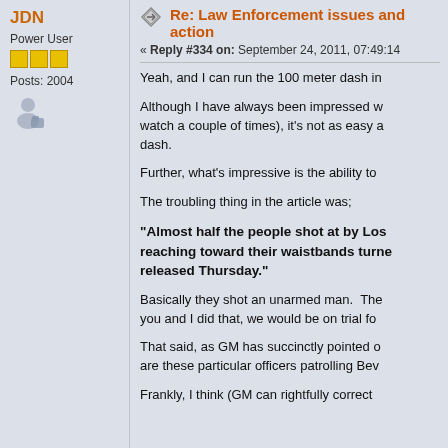JDN
Power User
Posts: 2004
Re: Law Enforcement issues and action
« Reply #334 on: September 24, 2011, 07:49:14
Yeah, and I can run the 100 meter dash in
Although I have always been impressed w... watch a couple of times), it's not as easy a... dash.
Further, what's impressive is the ability to
The troubling thing in the article was;
"Almost half the people shot at by Los... reaching toward their waistbands turne... released Thursday."
Basically they shot an unarmed man. The... you and I did that, we would be on trial fo
That said, as GM has succinctly pointed o... are these particular officers patrolling Bev
Frankly, I think (GM can rightfully correct...